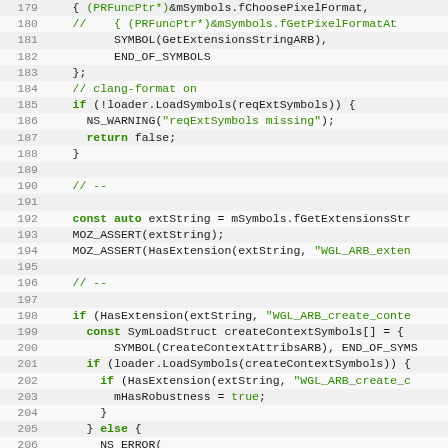[Figure (screenshot): Source code listing showing C++ code lines 179-210, with line numbers on left, alternating row background colors, green keywords and comments, monospace font.]